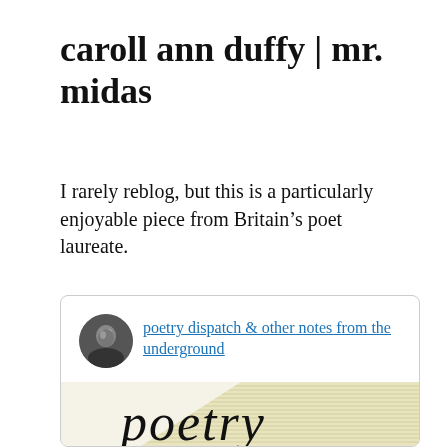caroll ann duffy | mr. midas
I rarely reblog, but this is a particularly enjoyable piece from Britain's poet laureate.
[Figure (screenshot): Embedded blog post card showing avatar photo of a person, a hyperlink reading 'poetry dispatch & other notes from the underground', and the bottom portion of a book cover showing the word 'poetry' in italic script on a cream/yellow striped background.]